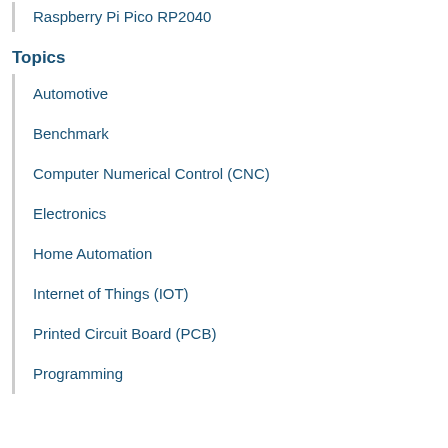Raspberry Pi Pico RP2040
Topics
Automotive
Benchmark
Computer Numerical Control (CNC)
Electronics
Home Automation
Internet of Things (IOT)
Printed Circuit Board (PCB)
Programming